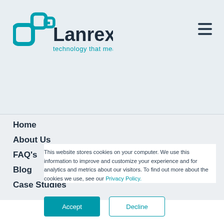[Figure (logo): Lanrex logo with teal icon and dark blue text 'Lanrex' with tagline 'technology that means business']
Home
About Us
FAQ's
Blog
Case Studies
This website stores cookies on your computer. We use this information to improve and customize your experience and for analytics and metrics about our visitors. To find out more about the cookies we use, see our Privacy Policy.
Accept
Decline